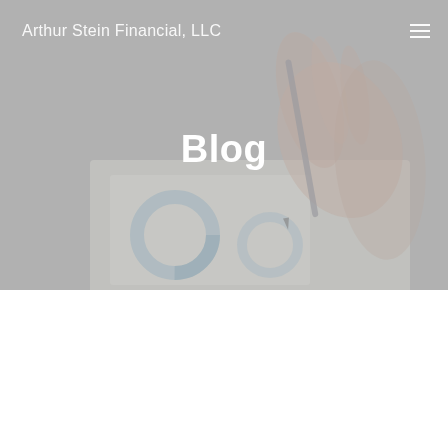Arthur Stein Financial, LLC
Blog
[Figure (photo): Background hero image showing hands writing with a pen on financial documents with charts, overlaid with a light grey/white wash effect]